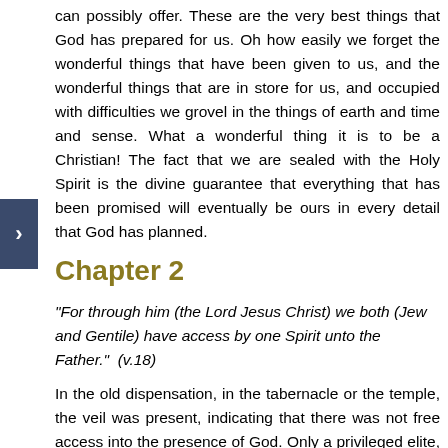can possibly offer. These are the very best things that God has prepared for us. Oh how easily we forget the wonderful things that have been given to us, and the wonderful things that are in store for us, and occupied with difficulties we grovel in the things of earth and time and sense. What a wonderful thing it is to be a Christian! The fact that we are sealed with the Holy Spirit is the divine guarantee that everything that has been promised will eventually be ours in every detail that God has planned.
Chapter 2
"For through him (the Lord Jesus Christ) we both (Jew and Gentile) have access by one Spirit unto the Father."  (v.18)
In the old dispensation, in the tabernacle or the temple, the veil was present, indicating that there was not free access into the presence of God. Only a privileged elite, the priests could go in and worship God, all others were barred. Even the Gentile was barred from the court, just a special place for them, and so there was not free